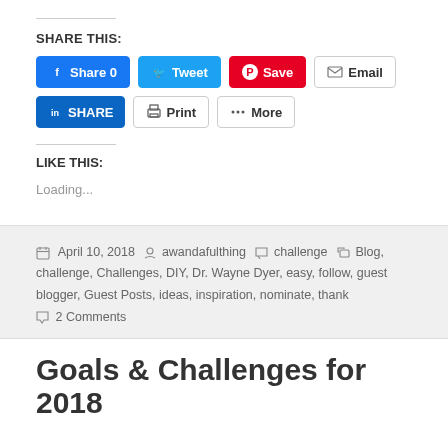SHARE THIS:
Share 0  Tweet  Save  Email  SHARE  Print  More
LIKE THIS:
Loading...
April 10, 2018  awandafulthing  challenge  Blog, challenge, Challenges, DIY, Dr. Wayne Dyer, easy, follow, guest blogger, Guest Posts, ideas, inspiration, nominate, thank  2 Comments
Goals & Challenges for 2018